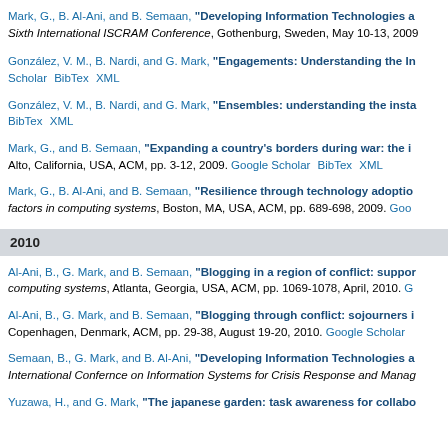Mark, G., B. Al-Ani, and B. Semaan, "Developing Information Technologies a..." Sixth International ISCRAM Conference, Gothenburg, Sweden, May 10-13, 2009.
González, V. M., B. Nardi, and G. Mark, "Engagements: Understanding the I..." Google Scholar BibTex XML
González, V. M., B. Nardi, and G. Mark, "Ensembles: understanding the insta..." BibTex XML
Mark, G., and B. Semaan, "Expanding a country's borders during war: the i..." Alto, California, USA, ACM, pp. 3-12, 2009. Google Scholar BibTex XML
Mark, G., B. Al-Ani, and B. Semaan, "Resilience through technology adoptio..." factors in computing systems, Boston, MA, USA, ACM, pp. 689-698, 2009. Goo...
2010
Al-Ani, B., G. Mark, and B. Semaan, "Blogging in a region of conflict: suppor..." computing systems, Atlanta, Georgia, USA, ACM, pp. 1069-1078, April, 2010. G...
Al-Ani, B., G. Mark, and B. Semaan, "Blogging through conflict: sojourners i..." Copenhagen, Denmark, ACM, pp. 29-38, August 19-20, 2010. Google Scholar
Semaan, B., G. Mark, and B. Al-Ani, "Developing Information Technologies a..." International Confernce on Information Systems for Crisis Response and Manag...
Yuzawa, H., and G. Mark, "The japanese garden: task awareness for collabo..."